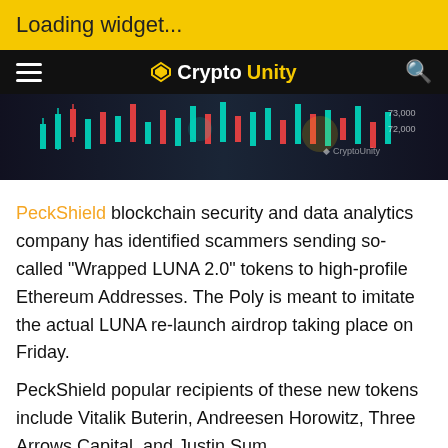Loading widget...
CryptoUnity
[Figure (photo): Crypto trading chart with candlestick data and CryptoUnity watermark]
PeckShield blockchain security and data analytics company has identified scammers sending so-called "Wrapped LUNA 2.0" tokens to high-profile Ethereum Addresses. The Poly is meant to imitate the actual LUNA re-launch airdrop taking place on Friday.
PeckShield popular recipients of these new tokens include Vitalik Buterin, Andreesen Horowitz, Three Arrows Capital, and Justin Sum.
The tokens were initially sent to Terra Deployer from an